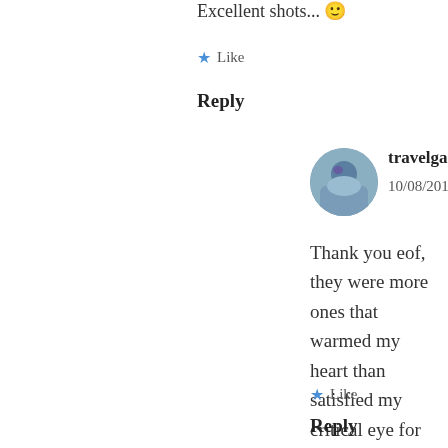Excellent shots... 🙂
★ Like
Reply
travelgardeneat says: 10/08/2012 at 8:08 AM
Thank you eof, they were more ones that warmed my heart than satisfied my critical eye for photography — but isn't that what is happy about? 🙂 ~ Kat
★ Like
Reply